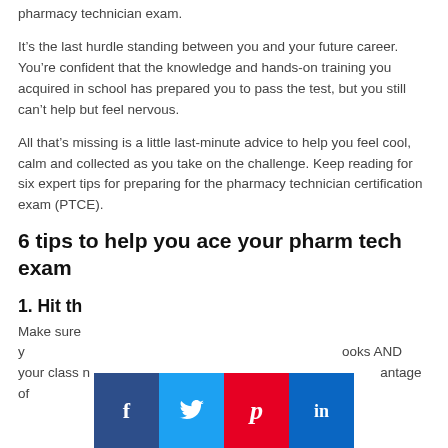pharmacy technician exam.
It’s the last hurdle standing between you and your future career. You’re confident that the knowledge and hands-on training you acquired in school has prepared you to pass the test, but you still can’t help but feel nervous.
All that’s missing is a little last-minute advice to help you feel cool, calm and collected as you take on the challenge. Keep reading for six expert tips for preparing for the pharmacy technician certification exam (PTCE).
6 tips to help you ace your pharm tech exam
1. Hit th…
Make sure y… ooks AND your class n… antage of
[Figure (infographic): Social media share bar with four buttons: Facebook (dark blue, f icon), Twitter (light blue, bird icon), Pinterest (red, P icon), LinkedIn (blue, in icon)]